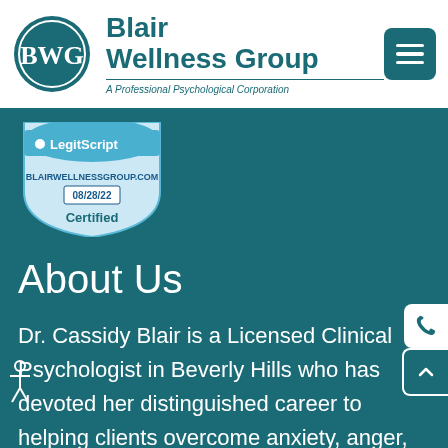[Figure (logo): Blair Wellness Group logo — circular teal monogram with letters BWG inside]
Blair Wellness Group
A Professional Psychological Corporation
[Figure (logo): LegitScript Certified badge — BLAIRWELLNESSGROUP.COM, 08/28/22, Certified]
About Us
Dr. Cassidy Blair is a Licensed Clinical Psychologist in Beverly Hills who has devoted her distinguished career to helping clients overcome anxiety, anger, depression, toxic